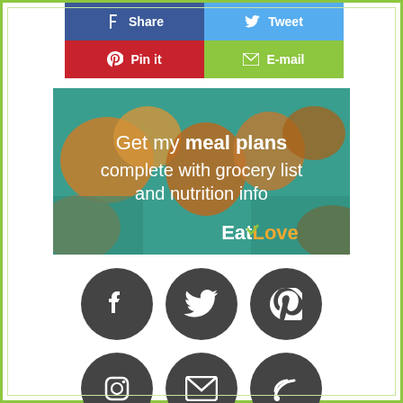[Figure (infographic): Social share buttons: Facebook Share (blue), Twitter Tweet (light blue), Pinterest Pin it (red), Email E-mail (green)]
[Figure (infographic): EatLove advertisement banner showing fruits and vegetables with text: Get my meal plans complete with grocery list and nutrition info. EatLove logo bottom right.]
[Figure (infographic): Six social media icon circles (dark grey): Facebook, Twitter, Pinterest, Instagram, Email/Mail, RSS feed]